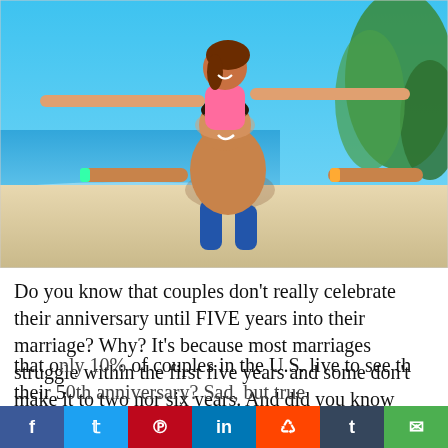[Figure (photo): A couple on a beach. A man is crouching and a woman is on his back with arms spread wide, both smiling and laughing. Blue sky and ocean in background.]
Do you know that couples don't really celebrate their anniversary until FIVE years into their marriage? Why? It's because most marriages struggle within the first five years and some don't make it to two nor six years. And did you know that only 10% of couples in the U.S. live to see their 50th anniversary? Sad, but true.